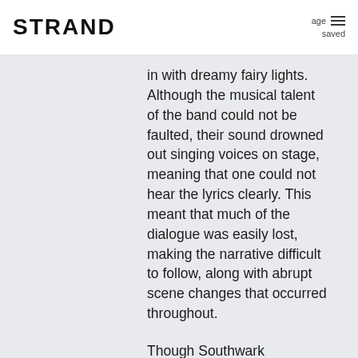STRAND
in with dreamy fairy lights. Although the musical talent of the band could not be faulted, their sound drowned out singing voices on stage, meaning that one could not hear the lyrics clearly. This meant that much of the dialogue was easily lost, making the narrative difficult to follow, along with abrupt scene changes that occurred throughout.
Though Southwark Playhouse's Gatsby was not without uncertainties and imbalances, it charmed me with its blithe numbers and glamorous visuals.